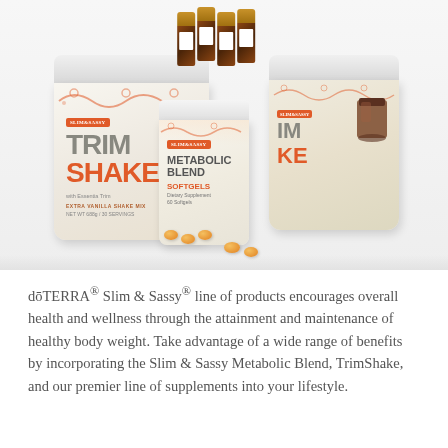[Figure (photo): dōTERRA Slim & Sassy product line including large Trim Shake (vanilla) container, Trim Shake (chocolate) container, Metabolic Blend Softgels bottle, and several essential oil bottles in background]
dōTERRA® Slim & Sassy® line of products encourages overall health and wellness through the attainment and maintenance of healthy body weight. Take advantage of a wide range of benefits by incorporating the Slim & Sassy Metabolic Blend, TrimShake, and our premier line of supplements into your lifestyle.